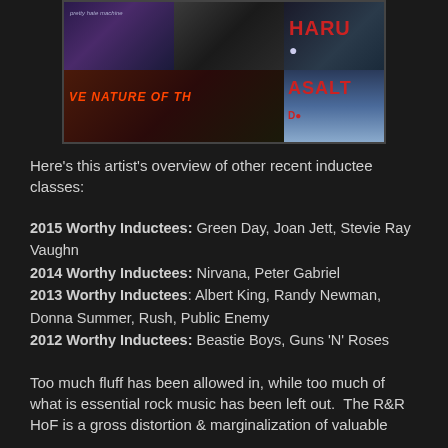[Figure (photo): Collage of album covers including Nine Inch Nails Pretty Hate Machine, a dark textured cover, a partial logo with HARU text, a red/orange fiery cover with text VE NATURE OF TH, and a blue cover with ASALT text]
Here's this artist's overview of other recent inductee classes:
2015 Worthy Inductees: Green Day, Joan Jett, Stevie Ray Vaughn
2014 Worthy Inductees: Nirvana, Peter Gabriel
2013 Worthy Inductees: Albert King, Randy Newman, Donna Summer, Rush, Public Enemy
2012 Worthy Inductees: Beastie Boys, Guns 'N' Roses
Too much fluff has been allowed in, while too much of what is essential rock music has been left out.  The R&R HoF is a gross distortion & marginalization of valuable